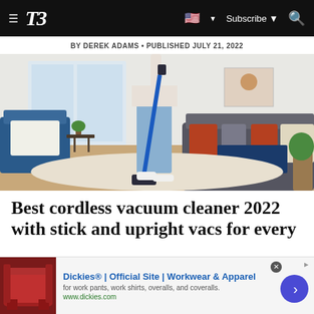T3 — Subscribe
BY DEREK ADAMS • PUBLISHED JULY 21, 2022
[Figure (photo): Person using a blue cordless stick vacuum cleaner on a rug in a living room with a blue sofa and armchair]
Best cordless vacuum cleaner 2022 with stick and upright vacs for every
[Figure (other): Advertisement: Dickies® | Official Site | Workwear & Apparel — for work pants, work shirts, overalls, and coveralls. www.dickies.com]